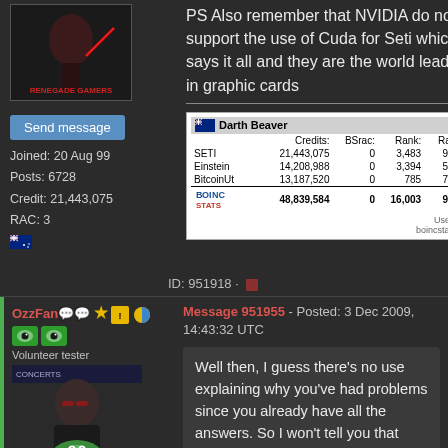PS Also remember that NVIDIA do not support the use of Cuda for Seti which says it all and they are the world leaders in graphic cards
[Figure (screenshot): BOINC Stats table for Darth Beaver showing credits for SETI, Einstein, BitcoinUt projects with total 48,839,584 credits, rank 16,003, rank% 99.603]
ID: 951918 ·
OzzFan Volunteer tester
Message 951955 - Posted: 3 Dec 2009, 14:43:32 UTC
Well then, I guess there's no use explaining why you've had problems since you already have all the answers. So I won't tell you that CUDA cards take longer to crunch Very High Angle Range